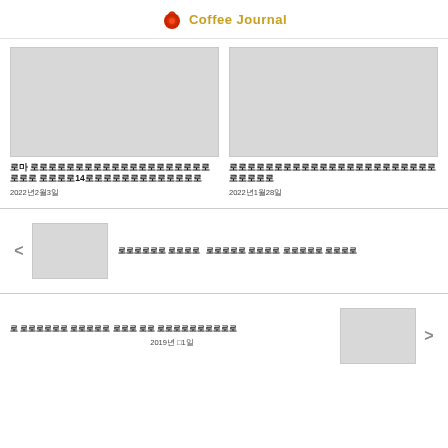Coffee Journal
[Figure (photo): Gray placeholder image for article 1]
로마 로로로로로로로로로로로로로로로로로로로로로로로 로로로로14로로로로로로로로로로로로로
2022년2월3일
[Figure (photo): Gray placeholder image for article 2]
로로로로로로로로로로로로로로로로로로로로로로로로로로로로
2022년1월28일
[Figure (photo): Gray placeholder thumbnail for carousel item]
로로로로로로 로로로로   로로로로로 로로로로 로로로로로 로로로로
[Figure (photo): Gray placeholder thumbnail for bottom item]
로 로로로로로로 로로로로로 로로로 로로 로로로로로로로로로로
2019년 □1일